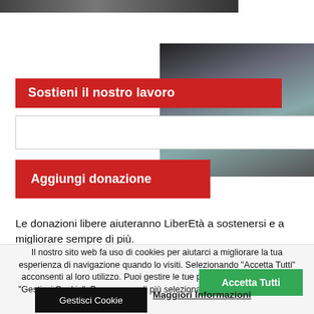[Figure (photo): Top banner photo, partially visible, dark tones]
[Figure (photo): Side photo of an elderly man pointing, outdoors, winter setting]
Sostieni il nostro lavoro
Le donazioni libere aiuteranno LiberEtà a sostenersi e a migliorare sempre di più.
Il nostro sito web fa uso di cookies per aiutarci a migliorare la tua esperienza di navigazione quando lo visiti. Selezionando "Accetta Tutti" acconsenti al loro utilizzo. Puoi gestire le tue preferenze selezionando "Gestisci Cookie". Per saperne di più seleziona "Maggiori Informazioni".